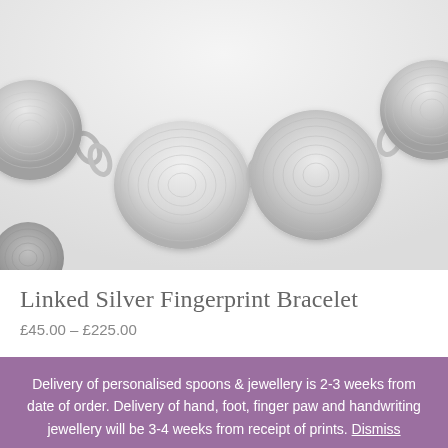[Figure (photo): Close-up photo of a silver fingerprint bracelet with multiple round disc charms linked together by oval silver links, each disc showing fingerprint impressions, on a light background. A small partial disc thumbnail is visible in the lower left corner.]
Linked Silver Fingerprint Bracelet
£45.00 – £225.00
Delivery of personalised spoons & jewellery is 2-3 weeks from date of order. Delivery of hand, foot, finger paw and handwriting jewellery will be 3-4 weeks from receipt of prints. Dismiss